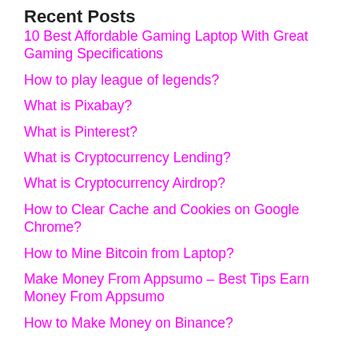Recent Posts
10 Best Affordable Gaming Laptop With Great Gaming Specifications
How to play league of legends?
What is Pixabay?
What is Pinterest?
What is Cryptocurrency Lending?
What is Cryptocurrency Airdrop?
How to Clear Cache and Cookies on Google Chrome?
How to Mine Bitcoin from Laptop?
Make Money From Appsumo – Best Tips Earn Money From Appsumo
How to Make Money on Binance?